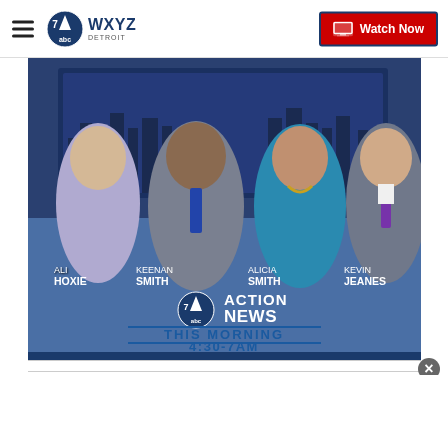WXYZ Detroit — Watch Now
[Figure (photo): Four news anchors posed in TV studio: Ali Hoxie, Keenan Smith, Alicia Smith, Kevin Jeanes. Overlay shows 7 Action News ABC logo, 'THIS MORNING', '4:30-7AM']
ALI HOXIE
KEENAN SMITH
ALICIA SMITH
KEVIN JEANES
ACTION NEWS THIS MORNING 4:30-7AM